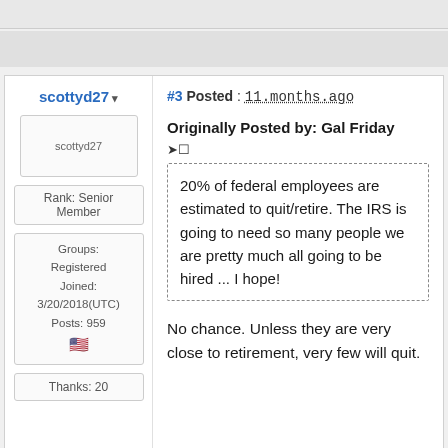scottyd27
[Figure (photo): Avatar placeholder image for user scottyd27]
Rank: Senior Member
Groups: Registered
Joined: 3/20/2018(UTC)
Posts: 959
🇺🇸
Thanks: 20
#3 Posted : 11.months.ago
Originally Posted by: Gal Friday
20% of federal employees are estimated to quit/retire. The IRS is going to need so many people we are pretty much all going to be hired ... I hope!
No chance. Unless they are very close to retirement, very few will quit.